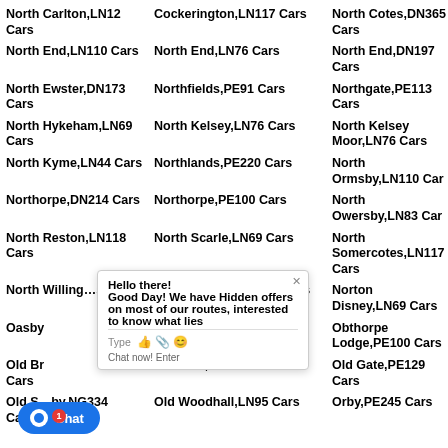North Carlton,LN12 Cars
Cockerington,LN117 Cars
North Cotes,DN365 Cars
North End,LN110 Cars
North End,LN76 Cars
North End,DN197 Cars
North Ewster,DN173 Cars
Northfields,PE91 Cars
Northgate,PE113 Cars
North Hykeham,LN69 Cars
North Kelsey,LN76 Cars
North Kelsey Moor,LN76 Cars
North Kyme,LN44 Cars
Northlands,PE220 Cars
North Ormsby,LN110 Cars
Northorpe,DN214 Cars
Northorpe,PE100 Cars
North Owersby,LN83 Cars
North Reston,LN118 Cars
North Scarle,LN69 Cars
North Somercotes,LN117 Cars
North Willingham,LN83 Cars
North Witham,NG335 Cars
Norton Disney,LN69 Cars
Oasby Cars
Obthorpe,PE100 Cars
Obthorpe Lodge,PE100 Cars
Old Brumby Cars
Old Clee,DN328 Cars
Old Gate,PE129 Cars
Old Somerby,NG334 Cars
Old Woodhall,LN95 Cars
Orby,PE245 Cars